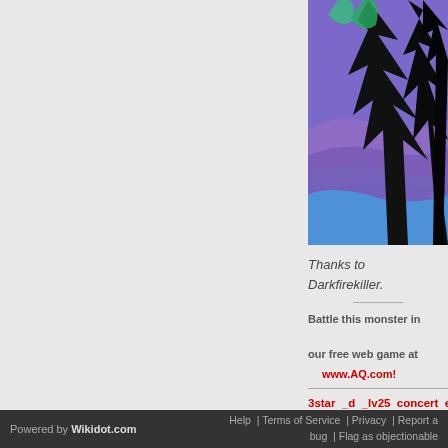[Figure (illustration): A partial view of a digital illustration showing a character or monster with black wing/claw-like shapes against a purple and blue background with teal accents at the top.]
Thanks to Darkfirekiller.
Battle this monster in our free web game at www.AQ.com!
3star _d _lv25 concert ele
Powered by Wikidot.com  Help | Terms of Service | Privacy | Report a bug | Flag as objectionable